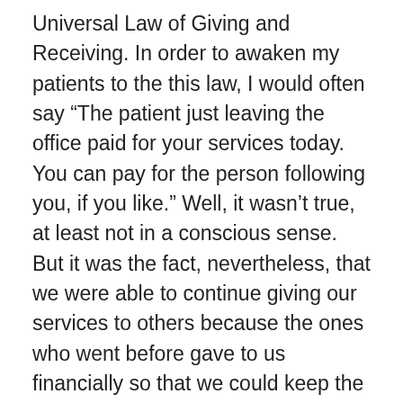Universal Law of Giving and Receiving. In order to awaken my patients to the this law, I would often say “The patient just leaving the office paid for your services today. You can pay for the person following you, if you like.” Well, it wasn’t true, at least not in a conscious sense. But it was the fact, nevertheless, that we were able to continue giving our services to others because the ones who went before gave to us financially so that we could keep the clinic open and buy groceries in order to sustain our bodies.  Those were the best years of my entire career as a healthcare practitioner. We had so much fun waking people up to the truth and spirit of the Law of Balance. It was also an education in how little value people in general placed on our services and, more to the point, were willing to invest in the health and wellness of their own house of being. Far more value is placed on the kind of automobile one